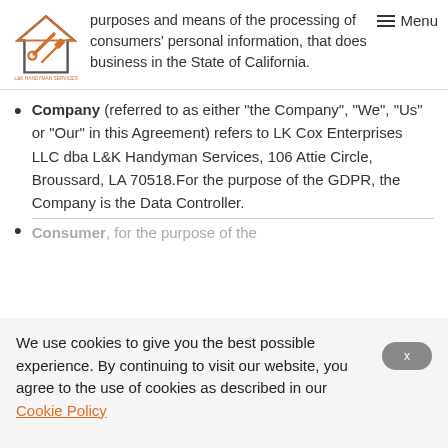purposes and means of the processing of consumers' personal information, that does business in the State of California.
Company (referred to as either “the Company”, “We”, “Us” or “Our” in this Agreement) refers to LK Cox Enterprises LLC dba L&K Handyman Services, 106 Attie Circle, Broussard, LA 70518.For the purpose of the GDPR, the Company is the Data Controller.
Consumer, for the purpose of the...
We use cookies to give you the best possible experience. By continuing to visit our website, you agree to the use of cookies as described in our Cookie Policy